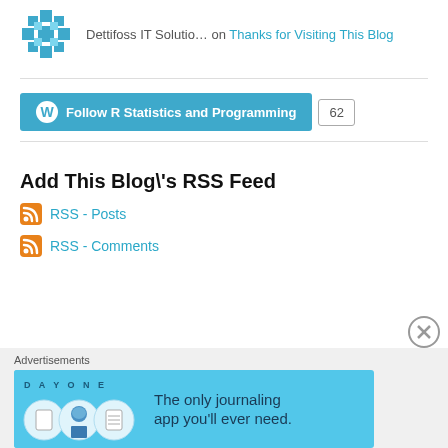Dettifoss IT Solutio… on Thanks for Visiting This Blog
[Figure (other): WordPress follow button for R Statistics and Programming with follower count 62]
Add This Blog\'s RSS Feed
RSS - Posts
RSS - Comments
Advertisements
[Figure (other): Day One journaling app advertisement banner: The only journaling app you'll ever need.]